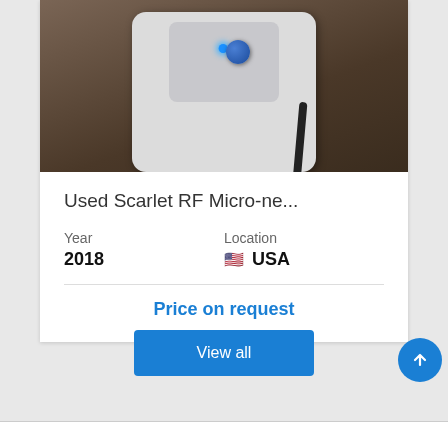[Figure (photo): Photo of a used Scarlet RF Micro-needle device mounted on a wall, white/grey device with blue LED indicator and blue knob, cable visible on right side]
Used Scarlet RF Micro-ne...
Year
2018
Location
🇺🇸 USA
Price on request
View all